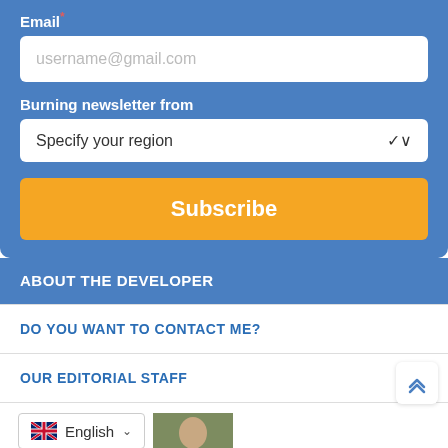Email *
username@gmail.com
Burning newsletter from
Specify your region
Subscribe
ABOUT THE DEVELOPER
DO YOU WANT TO CONTACT ME?
OUR EDITORIAL STAFF
English